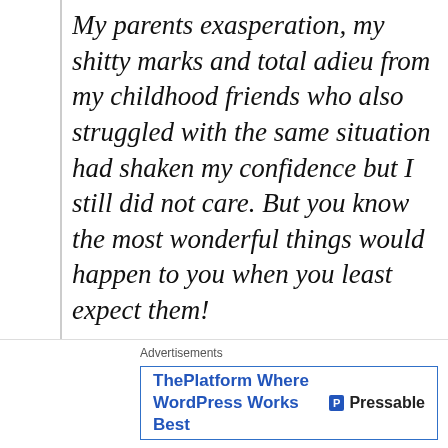My parents exasperation, my shitty marks and total adieu from my childhood friends who also struggled with the same situation had shaken my confidence but I still did not care. But you know the most wonderful things would happen to you when you least expect them! There I met this girl Meenakshi.Tall,confident,extrovert,outspoken and a performer! I developed an instant likeness for her and she
Advertisements
[Figure (other): Advertisement banner: ThePlatform Where WordPress Works Best - Pressable]